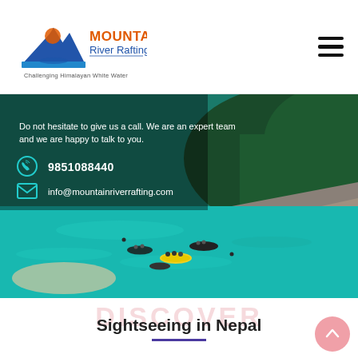[Figure (logo): Mountain River Rafting logo with mountain peak silhouette, orange sun, rafters icon, and text 'MOUNTAIN River Rafting' with tagline 'Challenging Himalayan White Water']
[Figure (photo): Aerial/wide shot of turquoise Himalayan river with rafters in yellow and black inflatable rafts, surrounded by green forested hills and rocky shores. Contact info overlay: phone 9851088440 and email info@mountainriverrafting.com]
Do not hesitate to give us a call. We are an expert team and we are happy to talk to you.
9851088440
info@mountainriverrafting.com
Sightseeing in Nepal